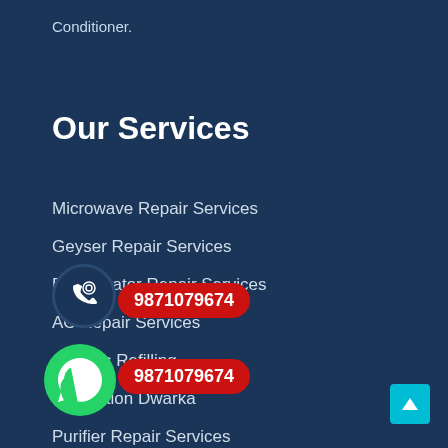Conditioner.
Our Services
Microwave Repair Services
Geyser Repair Services
Refrigerator Repair Services
AC Repair Services
AC Gas Refilling
Installation Dwarka
Purifier Repair Services
Inverter Repair Services
Washing Machine Repair Services
[Figure (infographic): Phone icon circle with red pill showing number 9871079674]
[Figure (infographic): WhatsApp icon circle with red pill showing number 9871079674]
[Figure (infographic): Cyan back-to-top arrow button in bottom right corner]